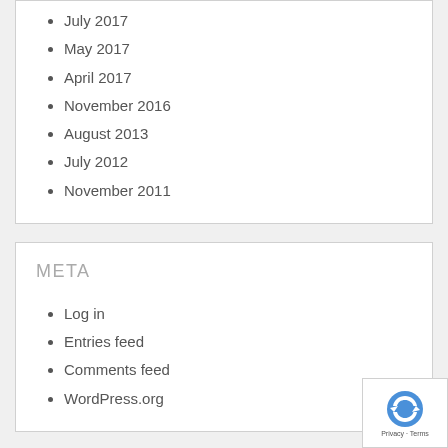July 2017
May 2017
April 2017
November 2016
August 2013
July 2012
November 2011
META
Log in
Entries feed
Comments feed
WordPress.org